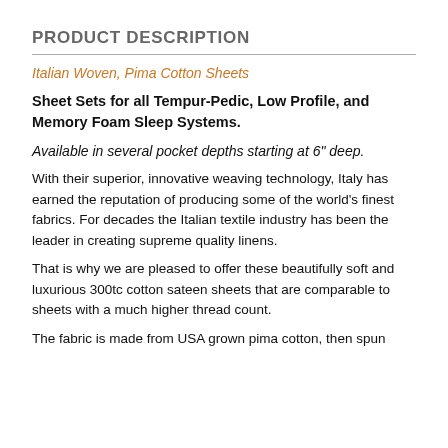PRODUCT DESCRIPTION
Italian Woven, Pima Cotton Sheets
Sheet Sets for all Tempur-Pedic, Low Profile, and Memory Foam Sleep Systems.
Available in several pocket depths starting at 6" deep.
With their superior, innovative weaving technology, Italy has earned the reputation of producing some of the world's finest fabrics. For decades the Italian textile industry has been the leader in creating supreme quality linens.
That is why we are pleased to offer these beautifully soft and luxurious 300tc cotton sateen sheets that are comparable to sheets with a much higher thread count.
The fabric is made from USA grown pima cotton, then spun